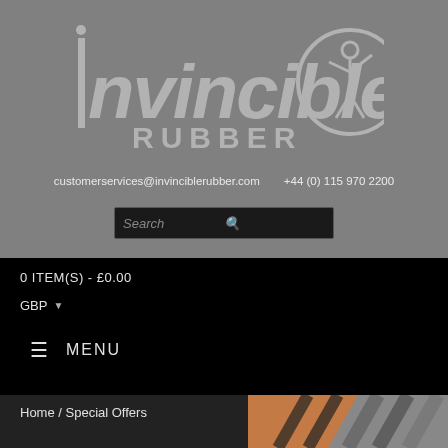[Figure (logo): Invincible Rubber logo with stylized text and circular figure icon]
customerservices@invinciblerubber.com   +44 (0) 115 970 2200
Search
0 ITEM(S) - £0.00
GBP
≡   MENU
Home / Special Offers
[Figure (photo): Partial product image with orange and grey diagonal striped rubber material]